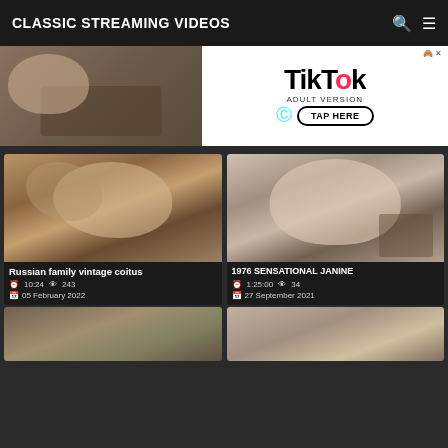CLASSIC STREAMING VIDEOS
[Figure (screenshot): TikTok Adult Version advertisement banner with a photo on the left and TikTok logo with TAP HERE button on the right]
[Figure (photo): Video thumbnail: young woman with long hair, video titled Russian family vintage coitus, duration 10:24, views 243, date 05 February 2022]
Russian family vintage coitus
10:24  243  05 February 2022
[Figure (photo): Video thumbnail: woman in white blouse smiling in an office setting, video titled 1976 SENSATIONAL JANINE, duration 1:25:00, views 34, date 27 September 2021]
1976 SENSATIONAL JANINE
1:25:00  34  27 September 2021
[Figure (photo): Video thumbnail bottom left, partially visible]
[Figure (photo): Video thumbnail bottom right, partially visible]